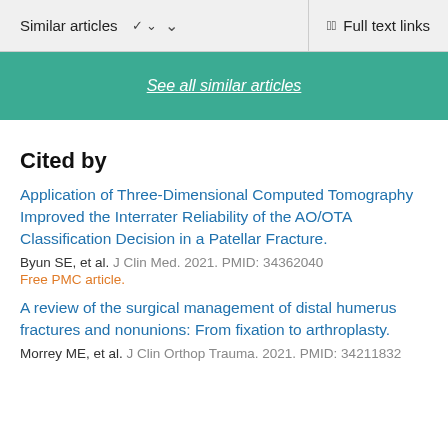Similar articles   ∨       Full text links
See all similar articles
Cited by
Application of Three-Dimensional Computed Tomography Improved the Interrater Reliability of the AO/OTA Classification Decision in a Patellar Fracture.
Byun SE, et al. J Clin Med. 2021. PMID: 34362040
Free PMC article.
A review of the surgical management of distal humerus fractures and nonunions: From fixation to arthroplasty.
Morrey ME, et al. J Clin Orthop Trauma. 2021. PMID: 34211832